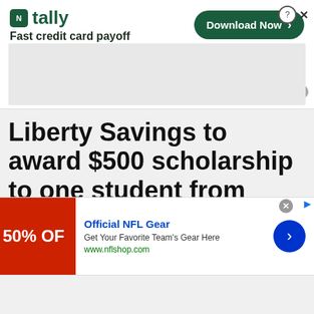[Figure (screenshot): Tally app advertisement banner: 'Fast credit card payoff' with a green Download Now button, close and help controls, and a gray placeholder block below.]
Liberty Savings to award $500 scholarship to one student from every high school in Hudson County.
[Figure (screenshot): NFL Shop advertisement: '50% OFF' in red box, 'Official NFL Gear', 'Get Your Favorite Team's Gear Here', 'www.nflshop.com', blue arrow button.]